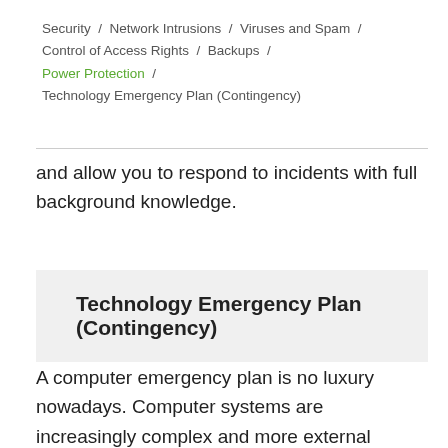Security / Network Intrusions / Viruses and Spam / Control of Access Rights / Backups / Power Protection / Technology Emergency Plan (Contingency)
and allow you to respond to incidents with full background knowledge.
Technology Emergency Plan (Contingency)
A computer emergency plan is no luxury nowadays. Computer systems are increasingly complex and more external resources are involved in the maintenance of computer systems. Therefore, it is important to bring together all the resources to provide management with a